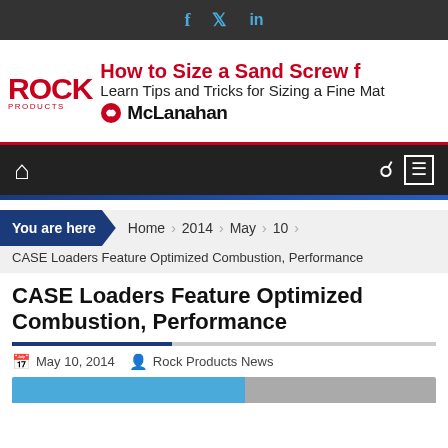f  t  in
[Figure (logo): Rock Products logo with red ROCK text and PRODUCTS subtitle]
[Figure (screenshot): Ad banner: How to Size a Sand Screw - Learn Tips and Tricks for Sizing a Fine Mat... McLanahan logo]
[Figure (screenshot): Navigation bar with home icon, search icon, and menu icon on dark background]
You are here  Home  2014  May  10
CASE Loaders Feature Optimized Combustion, Performance
CASE Loaders Feature Optimized Combustion, Performance
May 10, 2014   Rock Products News